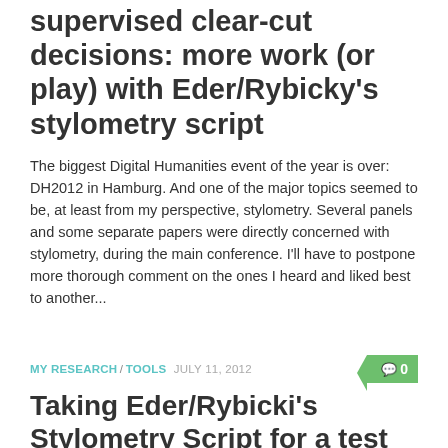supervised clear-cut decisions: more work (or play) with Eder/Rybicky's stylometry script
The biggest Digital Humanities event of the year is over: DH2012 in Hamburg. And one of the major topics seemed to be, at least from my perspective, stylometry. Several panels and some separate papers were directly concerned with stylometry, during the main conference. I'll have to postpone more thorough comment on the ones I heard and liked best to another...
MY RESEARCH / TOOLS  JULY 11, 2012
Taking Eder/Rybicki's Stylometry Script for a test drive